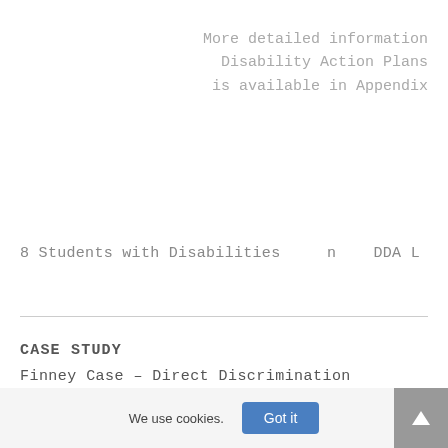More detailed information Disability Action Plans is available in Appendix
8 Students with Disabilities    n   DDA L
CASE STUDY
Finney Case – Direct Discrimination
We use cookies.